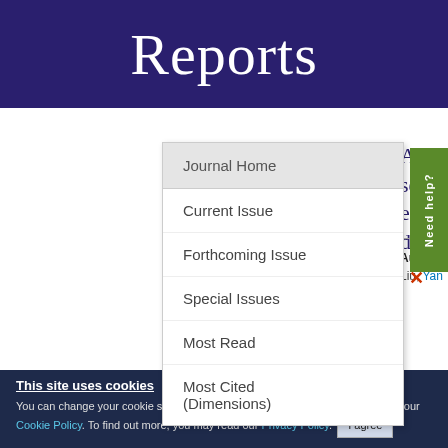Reports
Journal Home
Current Issue
Forthcoming Issue
Special Issues
Most Read
Most Cited (Dimensions)
A sens
en...
det...
Authors:
Liu, Yan...
Need help?
This site uses cookies
You can change your cookie settings at any time by following the instructions in our Cookie Policy. To find out more, you may read our Privacy Policy.
I agree